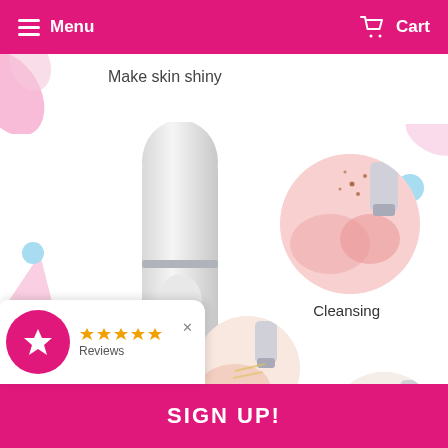Menu  Cart
Make skin shiny
[Figure (photo): White electronic facial skin care device (bottle-shaped)]
[Figure (photo): Circular close-up of skin cleansing action with device tip]
Cleansing
[Figure (photo): Circular close-up of skin lifting action]
Lifting
[Figure (photo): Circular close-up of third skin care mode]
★★★★★ Reviews
SIGN UP!